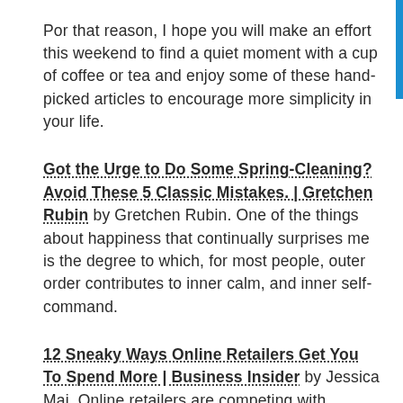For that reason, I hope you will make an effort this weekend to find a quiet moment with a cup of coffee or tea and enjoy some of these hand-picked articles to encourage more simplicity in your life.
Got the Urge to Do Some Spring-Cleaning? Avoid These 5 Classic Mistakes. | Gretchen Rubin by Gretchen Rubin. One of the things about happiness that continually surprises me is the degree to which, for most people, outer order contributes to inner calm, and inner self-command.
12 Sneaky Ways Online Retailers Get You To Spend More | Business Insider by Jessica Mai. Online retailers are competing with